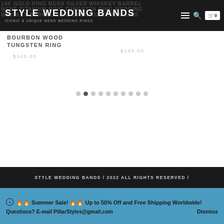STYLE WEDDING BANDS — ICONIC & UNIQUE MENS WEDDING RINGS
BOURBON WOOD TUNGSTEN RING
$145.00
$145.00
[Figure (other): Carousel pagination dots, 10 dots with second one active]
STYLE WEDDING BANDS / 2022 ALL RIGHTS RESERVED /
ⓘ 🔥🔥 Summer Sale! 🔥🔥 Up to 50% Off and Free Shipping Worldwide! Questions? E-mail PillarStyles@gmail.com   Dismiss